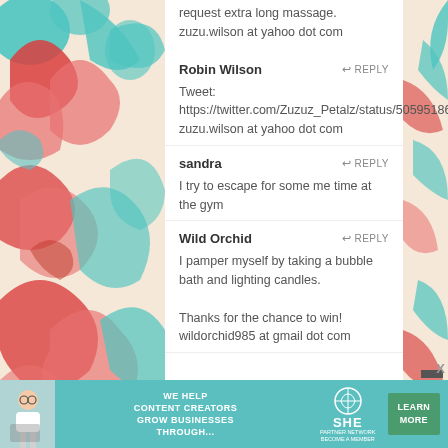request extra long massage.
zuzu.wilson at yahoo dot com
Robin Wilson
Tweet: https://twitter.com/Zuzuz_Petalz/status/5059518660236
zuzu.wilson at yahoo dot com
sandra
I try to escape for some me time at the gym
Wild Orchid
I pamper myself by taking a bubble bath and lighting candles.

Thanks for the chance to win!
wildorchid985 at gmail dot com
[Figure (infographic): SHE Media ad banner: WE HELP CONTENT CREATORS GROW BUSINESSES THROUGH... SHE PARTNER NETWORK BECOME A MEMBER LEARN MORE]